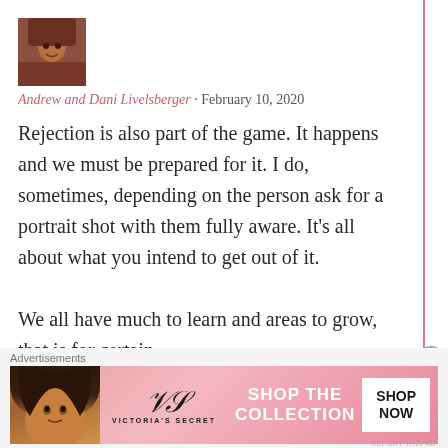[Figure (photo): User avatar photo showing a person with reddish-brown tones]
Andrew and Dani Livelsberger · February 10, 2020
Rejection is also part of the game. It happens and we must be prepared for it. I do, sometimes, depending on the person ask for a portrait shot with them fully aware. It's all about what you intend to get out of it.

We all have much to learn and areas to grow, that is for certain.
Advertisements
[Figure (photo): Victoria's Secret advertisement banner with model and SHOP THE COLLECTION / SHOP NOW text]